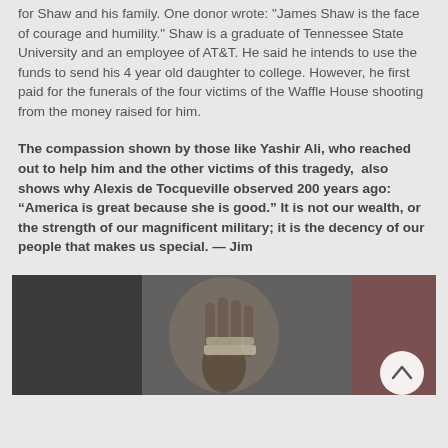for Shaw and his family. One donor wrote: "James Shaw is the face of courage and humility." Shaw is a graduate of Tennessee State University and an employee of AT&T. He said he intends to use the funds to send his 4 year old daughter to college. However, he first paid for the funerals of the four victims of the Waffle House shooting from the money raised for him.
The compassion shown by those like Yashir Ali, who reached out to help him and the other victims of this tragedy,  also shows why Alexis de Tocqueville observed 200 years ago: “America is great because she is good.” It is not our wealth, or the strength of our magnificent military; it is the decency of our people that makes us special. — Jim
[Figure (photo): A dark photograph showing a person's hand raised, with bandaging visible on the hand/wrist area. The background is blurred with dark and reddish tones. A circular scroll-to-top button is visible in the lower right corner.]